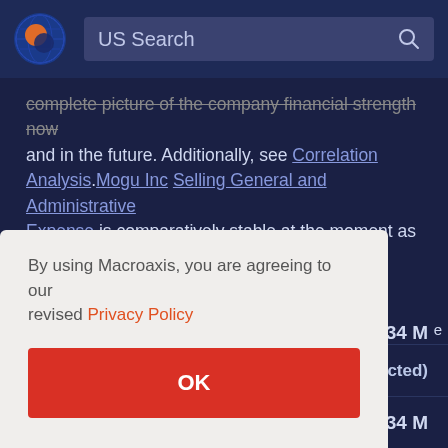US Search
complete picture of the company financial strength now and in the future. Additionally, see Correlation Analysis. Mogu Inc Selling General and Administrative Expense is comparatively stable at the moment as compared to the past year. Mogu Inc reported Selling General and Administrative Expense of 227.59 Million in 2021. Net Cash Flow Investment Acquisitions and
By using Macroaxis, you are agreeing to our revised Privacy Policy
OK
cted)
334 M
Revenues
915.34 M